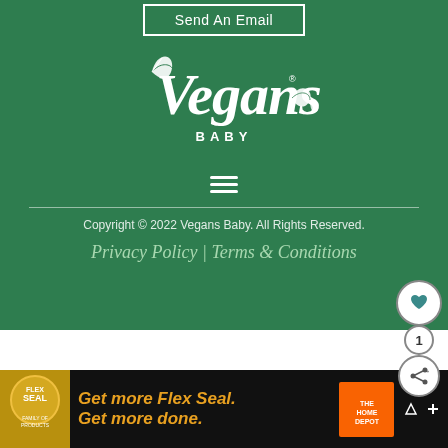Send An Email
[Figure (logo): Vegans Baby script logo in white on green background with leaf decorations]
[Figure (other): Hamburger menu icon (three horizontal white lines)]
Copyright © 2022 Vegans Baby. All Rights Reserved.
Privacy Policy | Terms & Conditions
Exclusive Member of Mediavine Food
[Figure (other): Advertisement banner: Flex Seal - Get more Flex Seal. Get more done. with Home Depot logo]